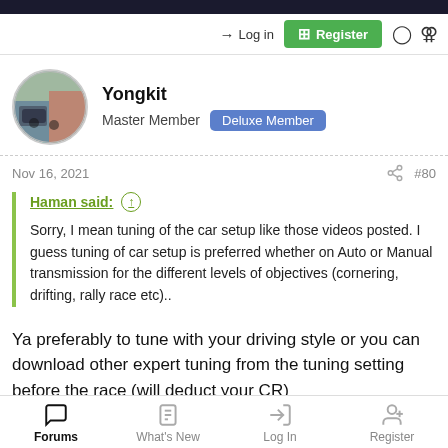Log in  Register
Yongkit
Master Member  Deluxe Member
Nov 16, 2021  #80
Haman said:
Sorry, I mean tuning of the car setup like those videos posted. I guess tuning of car setup is preferred whether on Auto or Manual transmission for the different levels of objectives (cornering, drifting, rally race etc)..
Ya preferably to tune with your driving style or you can download other expert tuning from the tuning setting before the race (will deduct your CR)
Forums  What's New  Log In  Register